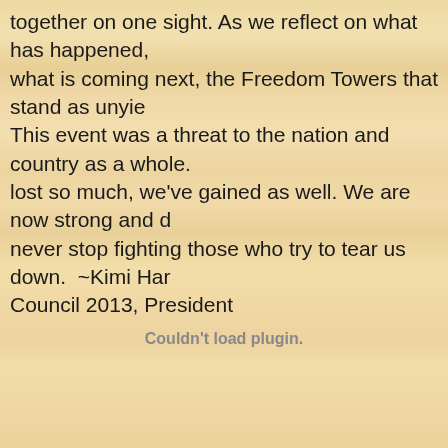together on one sight. As we reflect on what has happened, what is coming next, the Freedom Towers that stand as unyielding. This event was a threat to the nation and country as a whole. lost so much, we've gained as well. We are now strong and d never stop fighting those who try to tear us down.  ~Kimi Ha Council 2013, President
Couldn't load plugin.